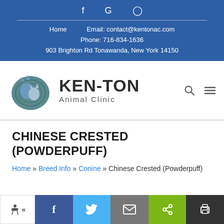f G [instagram] | Home   Email: contact@kentonac.com | Phone: 716-834-1636 | 903 Brighton Rd Tonawanda, New York 14150
[Figure (logo): Ken-Ton Animal Clinic logo with dog and cat silhouette in circular teal emblem, bold KEN-TON text and Animal Clinic subtitle, with search and hamburger menu icons]
CHINESE CRESTED (POWDERPUFF)
Home » Breed Info » Conine » Chinese Crested (Powderpuff)
Accessibility | Facebook | Twitter | Email | Share | Print